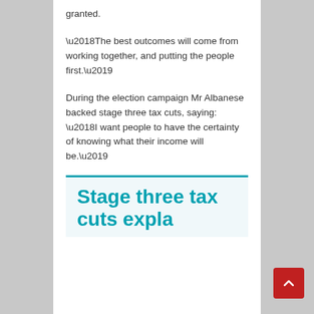granted.
‘The best outcomes will come from working together, and putting the people first.’
During the election campaign Mr Albanese backed stage three tax cuts, saying: ‘I want people to have the certainty of knowing what their income will be.’
Stage three tax cuts explained